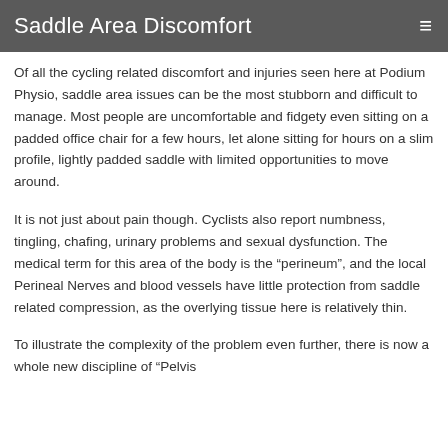Saddle Area Discomfort
Of all the cycling related discomfort and injuries seen here at Podium Physio, saddle area issues can be the most stubborn and difficult to manage. Most people are uncomfortable and fidgety even sitting on a padded office chair for a few hours, let alone sitting for hours on a slim profile, lightly padded saddle with limited opportunities to move around.
It is not just about pain though. Cyclists also report numbness, tingling, chafing, urinary problems and sexual dysfunction. The medical term for this area of the body is the “perineum”, and the local Perineal Nerves and blood vessels have little protection from saddle related compression, as the overlying tissue here is relatively thin.
To illustrate the complexity of the problem even further, there is now a whole new discipline of “Pelvic...